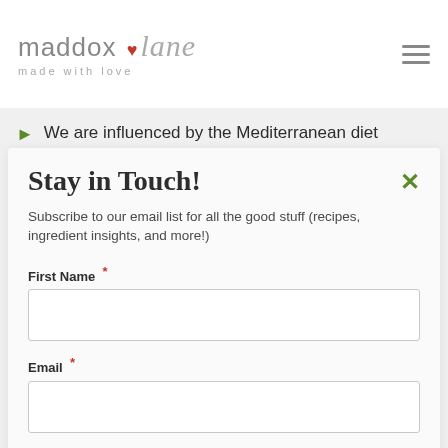maddox lane — made with love
We are influenced by the Mediterranean diet principles and only cook with extra virgin olive oil & we make all
Stay in Touch!
Subscribe to our email list for all the good stuff (recipes, ingredient insights, and more!)
First Name *
Email *
SIGN UP!